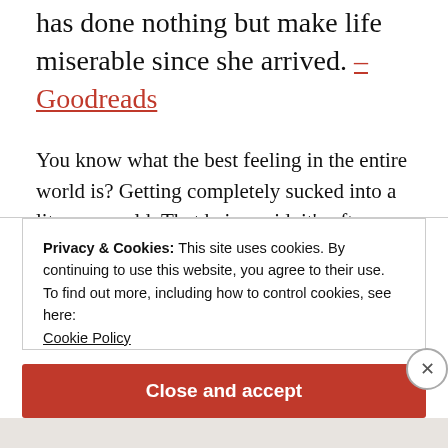has done nothing but make life miserable since she arrived. – Goodreads
You know what the best feeling in the entire world is? Getting completely sucked into a literary world. That being said, it's often followed by the most dismal feeling in the world: finishing said book and longing for another.
I'm going to admit a weakness as a reader (I'm a little bit
Privacy & Cookies: This site uses cookies. By continuing to use this website, you agree to their use.
To find out more, including how to control cookies, see here:
Cookie Policy
Close and accept